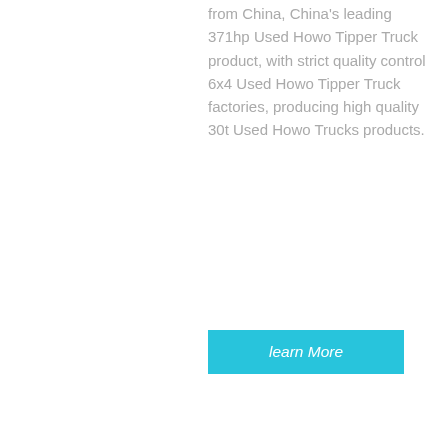from China, China's leading 371hp Used Howo Tipper Truck product, with strict quality control 6x4 Used Howo Tipper Truck factories, producing high quality 30t Used Howo Trucks products.
learn More
[Figure (photo): Red Howo tipper truck / tractor unit parked in front of a warehouse with blue storage containers visible in the background]
Used Howo 371hp Tipper Truck 20cbm Second Hand ...
Used Howo 371hp Tipper Truck 20cbm Second Hand Dumper with New Bucket for DR Congo. Dump